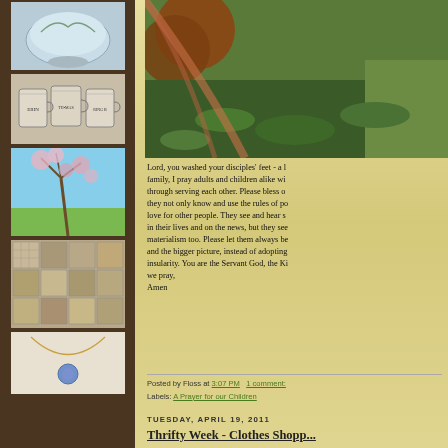[Figure (photo): Blue and white ceramic bowl with floral design]
[Figure (photo): Three ceramic mugs with inscriptions]
[Figure (photo): Cherry blossom tree against blue sky]
[Figure (photo): Patchwork quilt with plaid patterns]
[Figure (photo): Necklace with pendant]
[Figure (photo): Close-up of terracotta pot with moss]
Lord, you washed your disciples' feet - a l... family, I pray adults and children alike wi... through serving each other. Please bless o... they not only know and use the rules of po... love for other people. They see and hear s... in their lives and on the news, but they see... materialism too. Please let them always be... and the bigger picture, instead of adopting... insularity. You are the Servant God, the Ki... we pray,
Amen
Posted by Floss at 3:07 PM  1 comment:
Labels: A Prayer for our Children
TUESDAY, APRIL 19, 2011
Thrifty Week - Clothes Shopp...
I'm joining in with Betty's Thrifty Week ag... theme of Thrifty Living in Foreign Climes... b...d th... I h...